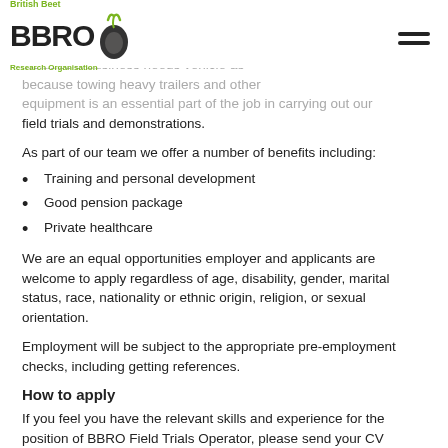British Beet BBRO Research Organisation
includes a business needs vehicle as because towing heavy trailers and other equipment is an essential part of the job in carrying out our field trials and demonstrations.
As part of our team we offer a number of benefits including:
Training and personal development
Good pension package
Private healthcare
We are an equal opportunities employer and applicants are welcome to apply regardless of age, disability, gender, marital status, race, nationality or ethnic origin, religion, or sexual orientation.
Employment will be subject to the appropriate pre-employment checks, including getting references.
How to apply
If you feel you have the relevant skills and experience for the position of BBRO Field Trials Operator, please send your CV